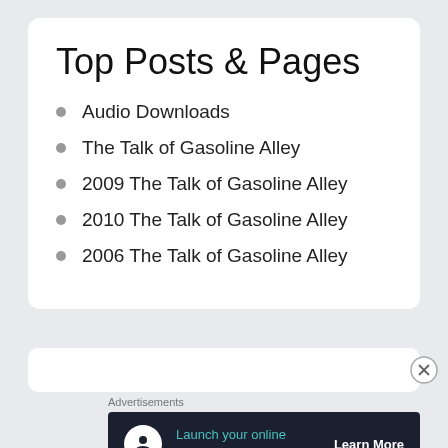Top Posts & Pages
Audio Downloads
The Talk of Gasoline Alley
2009 The Talk of Gasoline Alley
2010 The Talk of Gasoline Alley
2006 The Talk of Gasoline Alley
Advertisements
[Figure (infographic): Advertisement banner: Launch your online course with WordPress. Learn More button.]